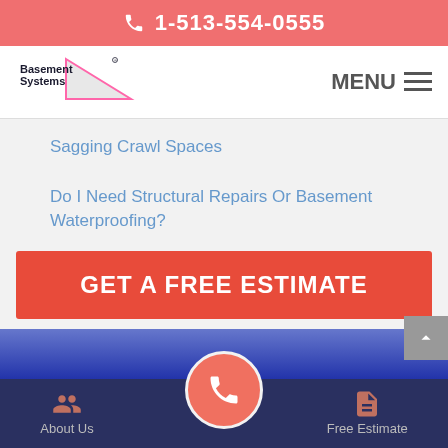1-513-554-0555
[Figure (logo): Basement Systems logo with triangle graphic]
MENU
Sagging Crawl Spaces
Do I Need Structural Repairs Or Basement Waterproofing?
GET A FREE ESTIMATE
About Us | Free Estimate